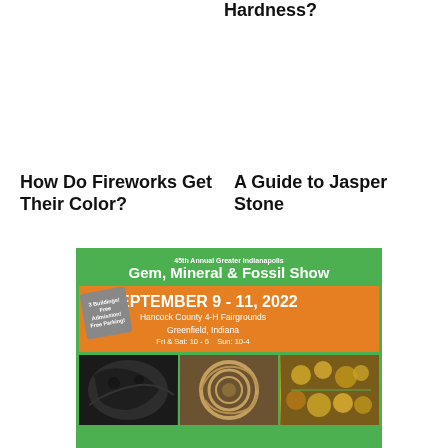Hardness?
How Do Fireworks Get Their Color?
A Guide to Jasper Stone
[Figure (infographic): Advertisement for 45th Annual Greater Indianapolis Gem, Mineral & Fossil Show. September 9-11, 2022 at Hancock County 4-H Fairgrounds, Greenfield, Indiana. Fri & Sat: 10-6, Sun: 10-4. Features photos of fossils, ammonite, and gemstones. Green and orange color scheme with badge noting 3 Buildings, Free Admission, Free Parking.]